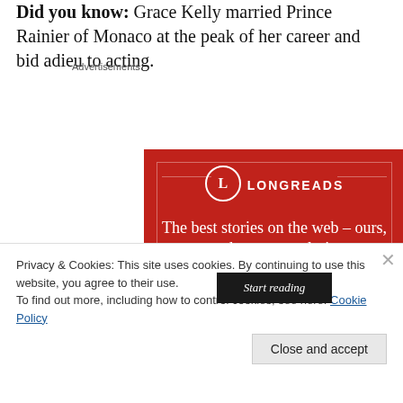Did you know: Grace Kelly married Prince Rainier of Monaco at the peak of her career and bid adieu to acting.
Advertisements
[Figure (screenshot): Longreads advertisement: red background with Longreads logo (circle with L), tagline 'The best stories on the web – ours, and everyone else's.' and a dark 'Start reading' button]
Privacy & Cookies: This site uses cookies. By continuing to use this website, you agree to their use.
To find out more, including how to control cookies, see here: Cookie Policy